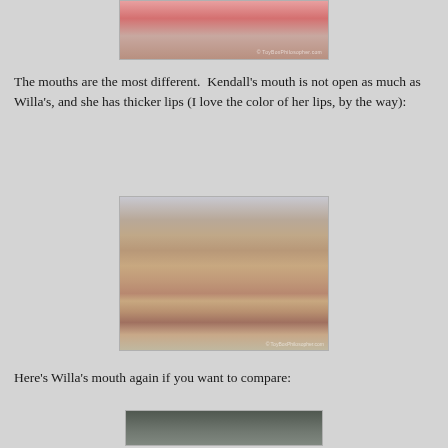[Figure (photo): Close-up photo of a doll's face showing a red hat and pink skin tones, with a watermark 'ToyBoxPhilosopher.com']
The mouths are the most different.  Kendall's mouth is not open as much as Willa's, and she has thicker lips (I love the color of her lips, by the way):
[Figure (photo): Close-up photo of a doll's face (Kendall) with brown skin, showing nose and mouth area with slightly open lips revealing two front teeth, eyes with glasses visible at top, watermark 'ToyBoxPhilosopher.com']
Here's Willa's mouth again if you want to compare:
[Figure (photo): Partial close-up photo of Willa doll's mouth area for comparison]